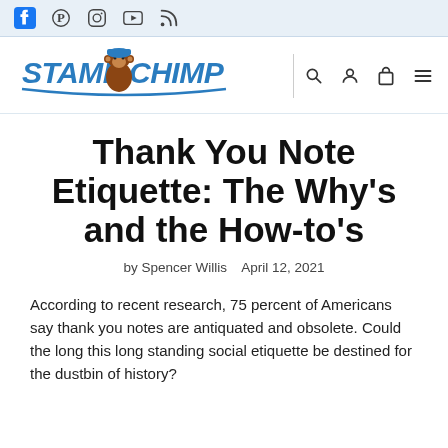Social media icons: Facebook, Pinterest, Instagram, YouTube, RSS
[Figure (logo): Stamp Chimp logo with cartoon chimp mascot and blue stylized text]
Thank You Note Etiquette: The Why's and the How-to's
by Spencer Willis   April 12, 2021
According to recent research, 75 percent of Americans say thank you notes are antiquated and obsolete. Could the long this long standing social etiquette be destined for the dustbin of history?